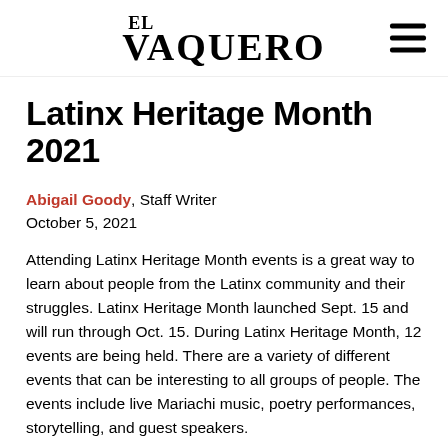El Vaquero
Latinx Heritage Month 2021
Abigail Goody, Staff Writer
October 5, 2021
Attending Latinx Heritage Month events is a great way to learn about people from the Latinx community and their struggles. Latinx Heritage Month launched Sept. 15 and will run through Oct. 15. During Latinx Heritage Month, 12 events are being held. There are a variety of different events that can be interesting to all groups of people. The events include live Mariachi music, poetry performances, storytelling, and guest speakers.